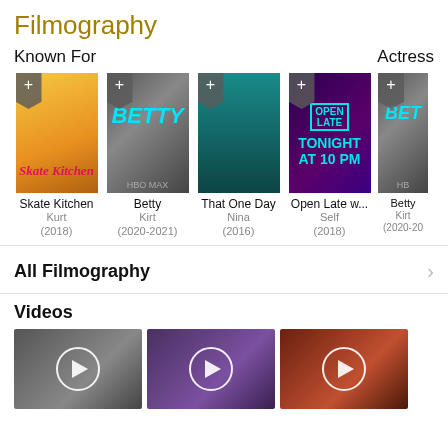Filmography
Known For
Actress
[Figure (photo): Movie poster for Skate Kitchen (2018)]
Skate Kitchen
Kurt
(2018)
[Figure (photo): TV show poster for Betty (2020-2021) on HBO Max]
Betty
Kirt
(2020-2021)
[Figure (photo): Movie poster for That One Day (2016)]
That One Day
Nina
(2016)
[Figure (photo): TV show poster for Open Late w... (2018)]
Open Late w...
Self
(2018)
[Figure (photo): Partial TV show poster for Betty (2020-2021)]
Betty
Kirt
(2020-20...
All Filmography
Videos
[Figure (photo): Video thumbnail showing street scene]
[Figure (photo): Video thumbnail showing a person]
[Figure (photo): Video thumbnail showing a person in doorway]